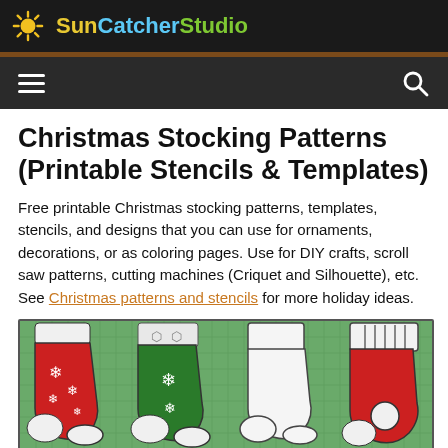SunCatcherStudio
Christmas Stocking Patterns (Printable Stencils & Templates)
Free printable Christmas stocking patterns, templates, stencils, and designs that you can use for ornaments, decorations, or as coloring pages. Use for DIY crafts, scroll saw patterns, cutting machines (Criquet and Silhouette), etc. See Christmas patterns and stencils for more holiday ideas.
[Figure (illustration): Four Christmas stockings on a green grid background: red stocking with white snowflakes, green stocking with white cuff and snowflakes and hexagon patterns, plain white/outline stocking, and red stocking with striped white cuff.]